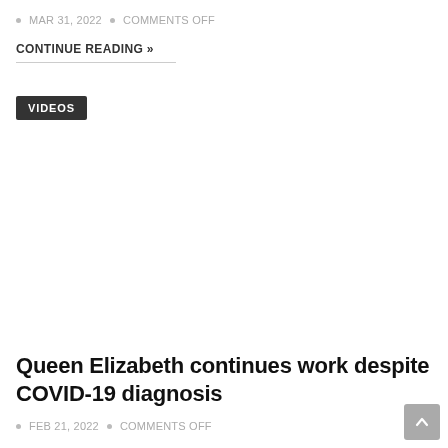MAR 31, 2022  •  COMMENTS OFF
CONTINUE READING »
VIDEOS
Queen Elizabeth continues work despite COVID-19 diagnosis
FEB 21, 2022  •  COMMENTS OFF